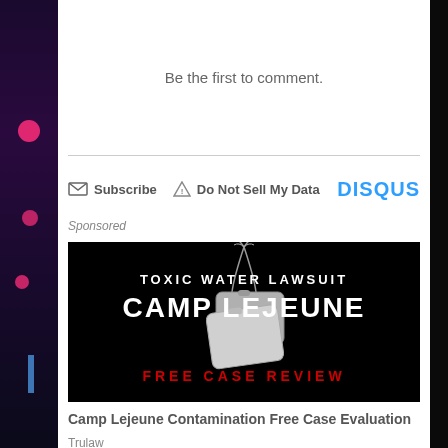Be the first to comment.
Subscribe   Do Not Sell My Data   DISQUS
Sponsored
[Figure (photo): Advertisement for Camp Lejeune Toxic Water Lawsuit showing military dog tags on a chain against a black background. Text reads: TOXIC WATER LAWSUIT, CAMP LEJEUNE, FREE CASE REVIEW]
Camp Lejeune Contamination Free Case Evaluation
Trulaw